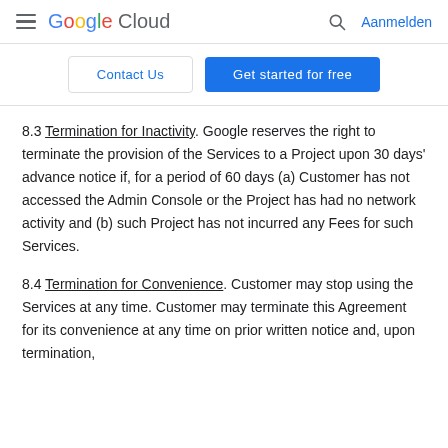Google Cloud — Aanmelden
Contact Us | Get started for free
8.3 Termination for Inactivity. Google reserves the right to terminate the provision of the Services to a Project upon 30 days' advance notice if, for a period of 60 days (a) Customer has not accessed the Admin Console or the Project has had no network activity and (b) such Project has not incurred any Fees for such Services.
8.4 Termination for Convenience. Customer may stop using the Services at any time. Customer may terminate this Agreement for its convenience at any time on prior written notice and, upon termination,